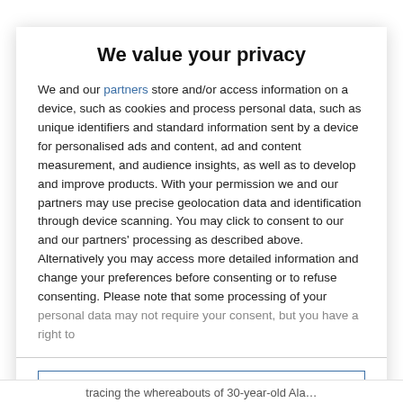We value your privacy
We and our partners store and/or access information on a device, such as cookies and process personal data, such as unique identifiers and standard information sent by a device for personalised ads and content, ad and content measurement, and audience insights, as well as to develop and improve products. With your permission we and our partners may use precise geolocation data and identification through device scanning. You may click to consent to our and our partners' processing as described above. Alternatively you may access more detailed information and change your preferences before consenting or to refuse consenting. Please note that some processing of your personal data may not require your consent, but you have a right to
AGREE
MORE OPTIONS
tracing the whereabouts of 30-year-old Ala…